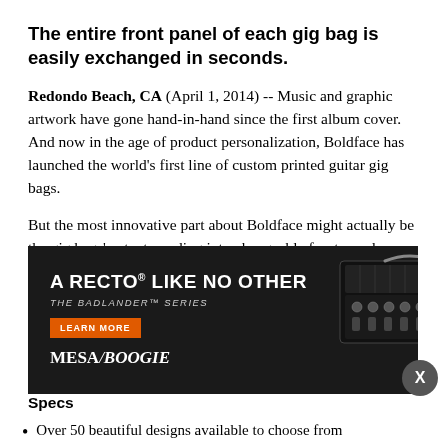The entire front panel of each gig bag is easily exchanged in seconds.
Redondo Beach, CA (April 1, 2014) -- Music and graphic artwork have gone hand-in-hand since the first album cover. And now in the age of product personalization, Boldface has launched the world’s first line of custom printed guitar gig bags.
But the most innovative part about Boldface might actually be the gig bags’ patent-pending interchangeable front panels (“faces”) that contain the graphics. The entire front panel of each gig bag, which is beautifully printed using the latest in dye sublimation technology, is easily exchanged in seconds. Pull one face off and put another face on while keeping the same bag.
[Figure (infographic): Mesa/Boogie advertisement for the Badlander Series amplifier. Dark background with text 'A RECTO LIKE NO OTHER', 'THE BADLANDER SERIES', orange Learn More button, Mesa/Boogie logo, and image of the amplifier head with guitar.]
Specs
Over 50 beautiful designs available to choose from